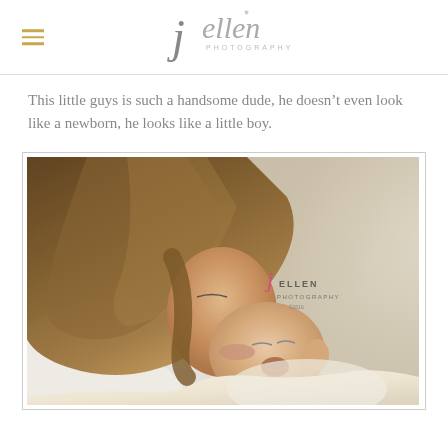j ellen PHOTOGRAPHY
This little guys is such a handsome dude, he doesn't even look like a newborn, he looks like a little boy.
[Figure (photo): A mother leaning down to kiss a sleeping newborn baby she is holding. The baby is wrapped in a cream-colored blanket. The photo has a J Ellen Photography watermark overlay. Soft warm tones.]